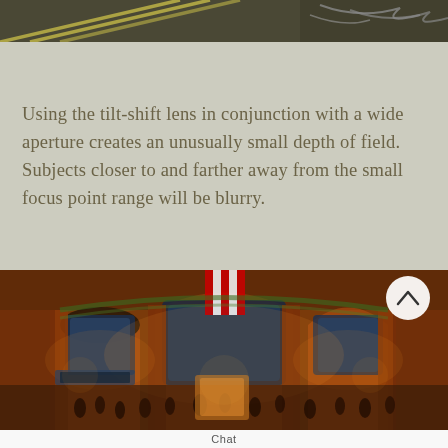[Figure (photo): Partial top image showing a street or aerial view with diagonal lines, dark and greyish tones, cropped at top of page]
Using the tilt-shift lens in conjunction with a wide aperture creates an unusually small depth of field. Subjects closer to and farther away from the small focus point range will be blurry.
[Figure (photo): Interior of Grand Central Terminal showing ornate arched windows, warm amber/orange lighting, columns, American flag, and crowd of people on the main concourse floor. A circular back/up button with a chevron is overlaid in the upper right of the image.]
Chat